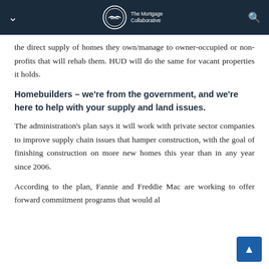The Mortgage Collaborative
the direct supply of homes they own/manage to owner-occupied or non-profits that will rehab them. HUD will do the same for vacant properties it holds.
Homebuilders – we're from the government, and we're here to help with your supply and land issues.
The administration's plan says it will work with private sector companies to improve supply chain issues that hamper construction, with the goal of finishing construction on more new homes this year than in any year since 2006.
According to the plan, Fannie and Freddie Mac are working to offer forward commitment programs that would al